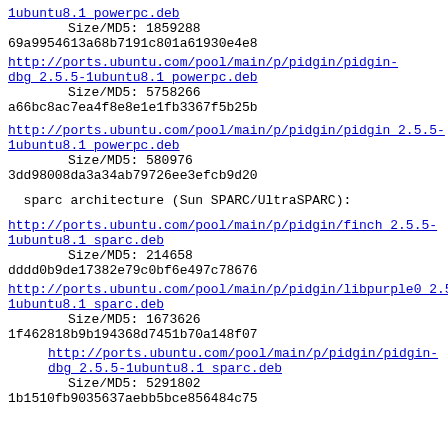1ubuntu8.1_powerpc.deb (link)
        Size/MD5:   1859288
69a9954613a68b7191c801a61930e4e8
http://ports.ubuntu.com/pool/main/p/pidgin/pidgin-dbg_2.5.5-1ubuntu8.1_powerpc.deb
        Size/MD5:   5758266
a66bc8ac7ea4f8e8e1e1fb3367f5b25b
http://ports.ubuntu.com/pool/main/p/pidgin/pidgin_2.5.5-1ubuntu8.1_powerpc.deb
        Size/MD5:    580976
3dd98008da3a34ab79726ee3efcb9d20
sparc architecture (Sun SPARC/UltraSPARC):
http://ports.ubuntu.com/pool/main/p/pidgin/finch_2.5.5-1ubuntu8.1_sparc.deb
        Size/MD5:    214658
dddd0b9de17382e79c0bf6e497c78676
http://ports.ubuntu.com/pool/main/p/pidgin/libpurple0_2.5.5-1ubuntu8.1_sparc.deb
        Size/MD5:   1673626
1f462818b9b194368d7451b70a148f07
http://ports.ubuntu.com/pool/main/p/pidgin/pidgin-dbg_2.5.5-1ubuntu8.1_sparc.deb
        Size/MD5:   5291802
1b1510fb9035637aebb5bce856484c75